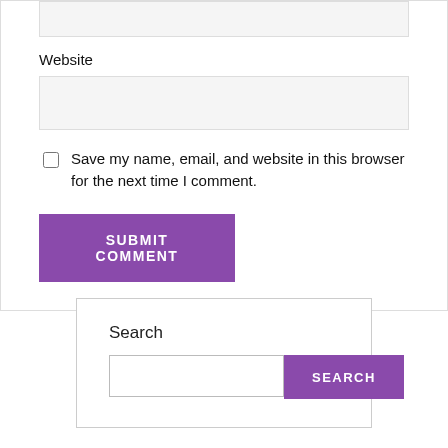Website
Save my name, email, and website in this browser for the next time I comment.
SUBMIT COMMENT
Search
SEARCH